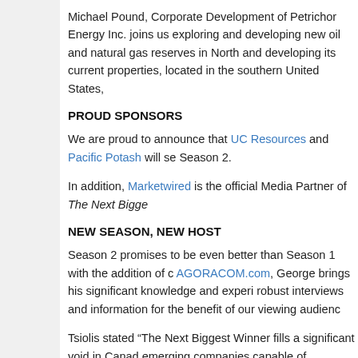Michael Pound, Corporate Development of Petrichor Energy Inc. joins us exploring and developing new oil and natural gas reserves in North and developing its current properties, located in the southern United States,
PROUD SPONSORS
We are proud to announce that UC Resources and Pacific Potash will se Season 2.
In addition, Marketwired is the official Media Partner of The Next Bigge
NEW SEASON, NEW HOST
Season 2 promises to be even better than Season 1 with the addition of c AGORACOM.com, George brings his significant knowledge and experi robust interviews and information for the benefit of our viewing audienc
Tsiolis stated “The Next Biggest Winner fills a significant void in Cana emerging companies capable of becoming The Next Biggest Winner. Sh Productions smartly recognized there is no other nationally televised sh companies and investors everywhere with a great platform to connect. T studio is second to none. I’m proud to be a Co-Producer for Season 2 a